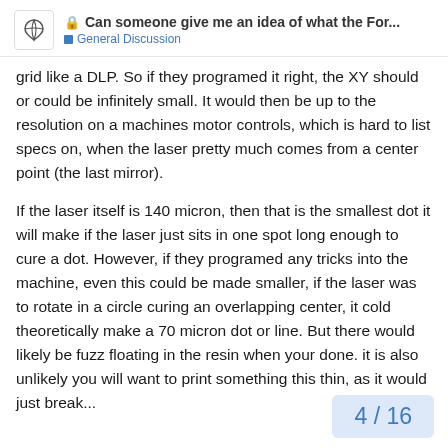Can someone give me an idea of what the For... — General Discussion
grid like a DLP. So if they programed it right, the XY should or could be infinitely small. It would then be up to the resolution on a machines motor controls, which is hard to list specs on, when the laser pretty much comes from a center point (the last mirror).
If the laser itself is 140 micron, then that is the smallest dot it will make if the laser just sits in one spot long enough to cure a dot. However, if they programed any tricks into the machine, even this could be made smaller, if the laser was to rotate in a circle curing an overlapping center, it cold theoretically make a 70 micron dot or line. But there would likely be fuzz floating in the resin when your done. it is also unlikely you will want to print something this thin, as it would just break...
4 / 16